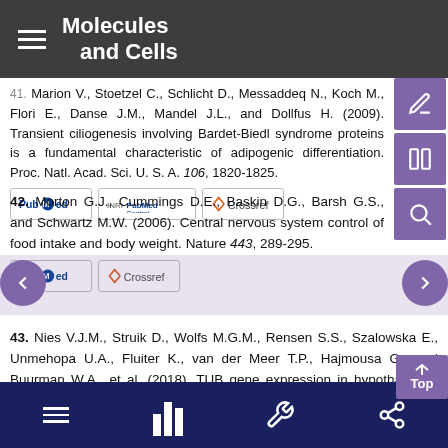Molecules and Cells
41. Marion V., Stoetzel C., Schlicht D., Messaddeq N., Koch M., Flori E., Danse J.M., Mandel J.L., and Dollfus H. (2009). Transient ciliogenesis involving Bardet-Biedl syndrome proteins is a fundamental characteristic of adipogenic differentiation. Proc. Natl. Acad. Sci. U. S. A. 106, 1820-1825.
42. Morton G.J., Cummings D.E., Baskin D.G., Barsh G.S., and Schwartz M.W. (2006). Central nervous system control of food intake and body weight. Nature 443, 289-295.
43. Nies V.J.M., Struik D., Wolfs M.G.M., Rensen S.S., Szalowska E., Unmehopa U.A., Fluiter K., van der Meer T.P., Hajmousa G., and Buurman W.A., et al. (2018). TUB gene expression in hypothalamus and adipose tissue and its association with obesity in humans. Int. J. Obes. (Lond.) 42, 376-383.